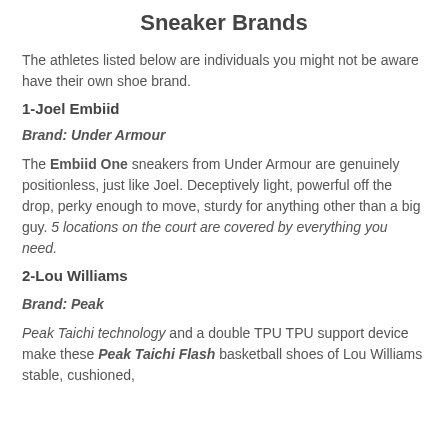Sneaker Brands
The athletes listed below are individuals you might not be aware have their own shoe brand.
1-Joel Embiid
Brand: Under Armour
The Embiid One sneakers from Under Armour are genuinely positionless, just like Joel. Deceptively light, powerful off the drop, perky enough to move, sturdy for anything other than a big guy. 5 locations on the court are covered by everything you need.
2-Lou Williams
Brand: Peak
Peak Taichi technology and a double TPU TPU support device make these Peak Taichi Flash basketball shoes of Lou Williams stable, cushioned,